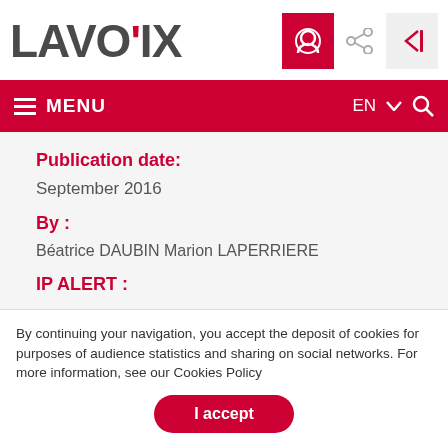[Figure (logo): LAVOIX logo with red accent mark above the V]
MENU  EN  ∨  🔍
Publication date:
September 2016
By :
Béatrice DAUBIN Marion LAPERRIERE
IP ALERT :
By continuing your navigation, you accept the deposit of cookies for purposes of audience statistics and sharing on social networks. For more information, see our Cookies Policy
I accept